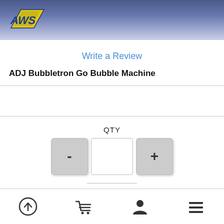[Figure (logo): AWS logo - yellow and blue angular logo with stylized 'AWS' text]
Write a Review
ADJ Bubbletron Go Bubble Machine
[Figure (screenshot): Quantity selector UI with minus button, input field, plus button, and bell notification icon]
[Figure (screenshot): Bottom navigation bar with upload, cart, user profile, and hamburger menu icons]